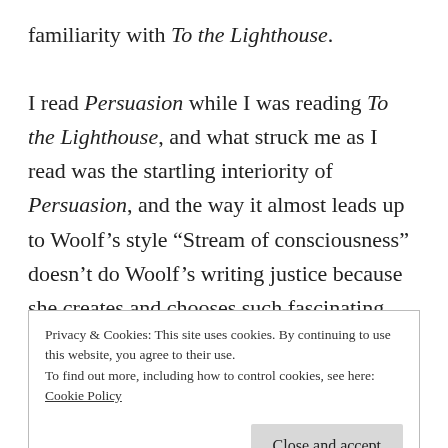familiarity with To the Lighthouse.

I read Persuasion while I was reading To the Lighthouse, and what struck me as I read was the startling interiority of Persuasion, and the way it almost leads up to Woolf’s style “Stream of consciousness” doesn’t do Woolf’s writing justice because she creates and chooses such fascinating characters whose consciousnesses to follow. Woolf in this novel is primarily concerned with women’s perceptions, making
Privacy & Cookies: This site uses cookies. By continuing to use this website, you agree to their use.
To find out more, including how to control cookies, see here:
Cookie Policy
Close and accept
Dalloway is the perfect book to meet Mrs. D